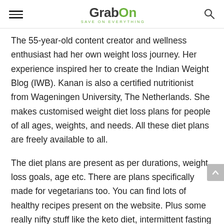GrabOn — SAVE ON EVERYTHING
The 55-year-old content creator and wellness enthusiast had her own weight loss journey. Her experience inspired her to create the Indian Weight Blog (IWB). Kanan is also a certified nutritionist from Wageningen University, The Netherlands. She makes customised weight diet loss plans for people of all ages, weights, and needs. All these diet plans are freely available to all.
The diet plans are present as per durations, weight loss goals, age etc. There are plans specifically made for vegetarians too. You can find lots of healthy recipes present on the website. Plus some really nifty stuff like the keto diet, intermittent fasting and more too is covered. If you need a little motivation in your fitness journey, the